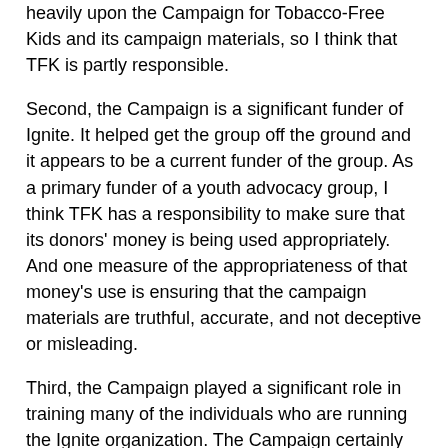heavily upon the Campaign for Tobacco-Free Kids and its campaign materials, so I think that TFK is partly responsible.
Second, the Campaign is a significant funder of Ignite. It helped get the group off the ground and it appears to be a current funder of the group. As a primary funder of a youth advocacy group, I think TFK has a responsibility to make sure that its donors' money is being used appropriately. And one measure of the appropriateness of that money's use is ensuring that the campaign materials are truthful, accurate, and not deceptive or misleading.
Third, the Campaign played a significant role in training many of the individuals who are running the Ignite organization. The Campaign certainly appears to have been responsible for the training that many of these young people received about the FDA legislation and the issue of federal regulation of consumer products, and tobacco products in particular. But that training seems to have been dismally flawed, as the youths do not appear to even understand the basic regulatory framework for consumer product safety in our federal regulatory system (in which the safety of the